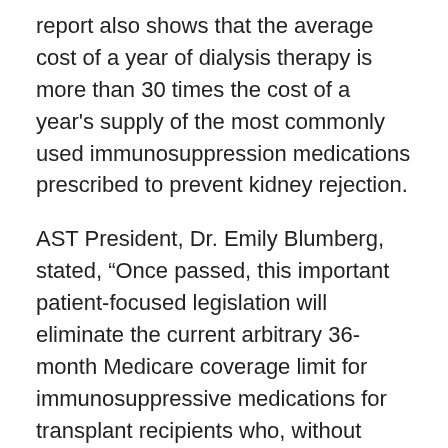report also shows that the average cost of a year of dialysis therapy is more than 30 times the cost of a year's supply of the most commonly used immunosuppression medications prescribed to prevent kidney rejection.
AST President, Dr. Emily Blumberg, stated, “Once passed, this important patient-focused legislation will eliminate the current arbitrary 36-month Medicare coverage limit for immunosuppressive medications for transplant recipients who, without these critical drugs, may lose their transplanted organs.” Dr. Blumberg applauds the House bill sponsors for their support of transplant patients and continuing efforts to address the immunosuppressive drug coverage issue.